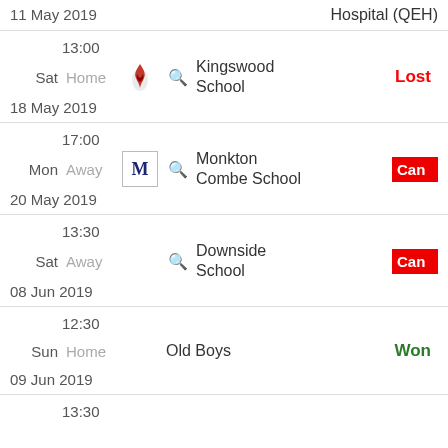| Date | Day | Venue | Logo | Opponent | Result |
| --- | --- | --- | --- | --- | --- |
| 11 May 2019 |  |  |  | Hospital (QEH) |  |
| 13:00 / Sat / 18 May 2019 | Sat | Home | Kingswood | Kingswood School | Lost |
| 17:00 / Mon / 20 May 2019 | Mon | Away | Monkton | Monkton Combe School | Can(celled) |
| 13:30 / Sat / 08 Jun 2019 | Sat | Away |  | Downside School | Can(celled) |
| 12:30 / Sun / 09 Jun 2019 | Sun | Home |  | Old Boys | Won |
| 13:30 |  |  |  |  |  |